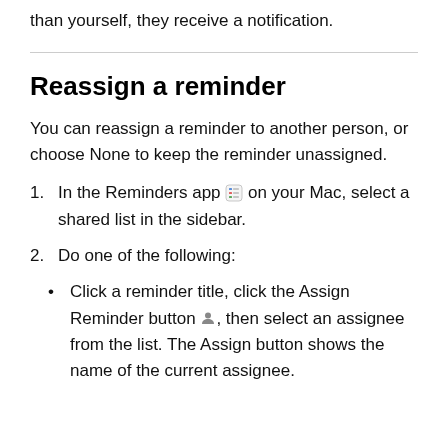than yourself, they receive a notification.
Reassign a reminder
You can reassign a reminder to another person, or choose None to keep the reminder unassigned.
In the Reminders app [icon] on your Mac, select a shared list in the sidebar.
Do one of the following:
Click a reminder title, click the Assign Reminder button [icon], then select an assignee from the list. The Assign button shows the name of the current assignee.